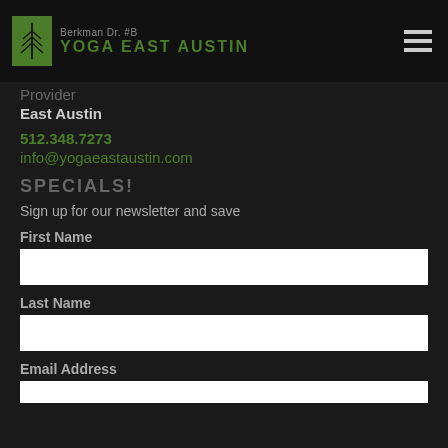[Figure (logo): Yoga East Austin logo with green leaf icon and text]
Berkman Dr. #B
YOGA EAST AUSTIN
Provider
East Austin
512.348.7273
info@yogaeastaustin.com
SPECIALS!
Sign up for our newsletter and save
First Name
Last Name
Email Address